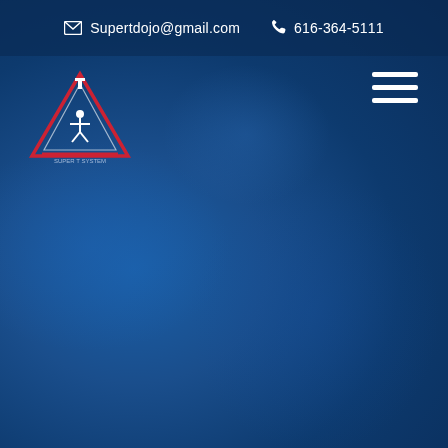✉ Supertdojo@gmail.com   📞 616-364-5111
[Figure (logo): Super T System martial arts logo — a triangle shape with a figure inside, text around the border, red and blue accents]
[Figure (other): Hamburger menu icon — three horizontal white bars]